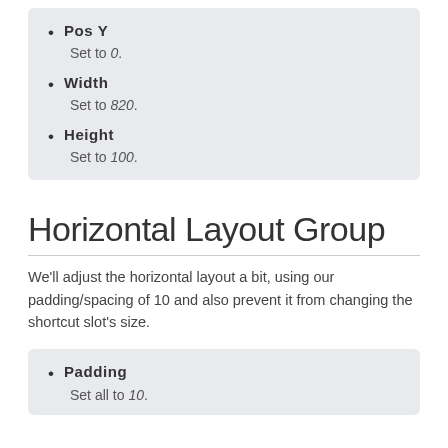Pos Y — Set to 0.
Width — Set to 820.
Height — Set to 100.
Horizontal Layout Group
We'll adjust the horizontal layout a bit, using our padding/spacing of 10 and also prevent it from changing the shortcut slot's size.
Padding — Set all to 10.